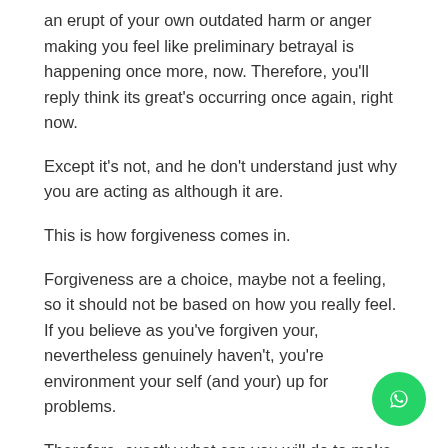an erupt of your own outdated harm or anger making you feel like preliminary betrayal is happening once more, now. Therefore, you'll reply think its great's occurring once again, right now.
Except it's not, and he don't understand just why you are acting as although it are.
This is how forgiveness comes in.
Forgiveness are a choice, maybe not a feeling, so it should not be based on how you really feel. If you believe as you've forgiven your, nevertheless genuinely haven't, you're environment your self (and your) up for problems.
Therefore, exactly what can you will do to make sure you've forgiven your?
Decide to try generating a list of every methods he's injured you, no matter what smaller. Getting as honest as you are able to, and